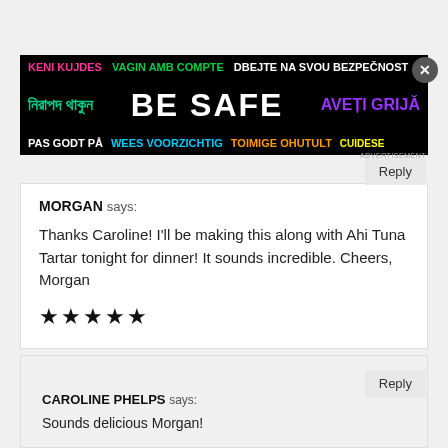[Figure (other): BE SAFE public safety advertisement banner with multilingual text in various colors on black background]
Reply
MORGAN says:
Thanks Caroline! I'll be making this along with Ahi Tuna Tartar tonight for dinner! It sounds incredible. Cheers, Morgan
★★★★★
Reply
CAROLINE PHELPS says:
Sounds delicious Morgan!